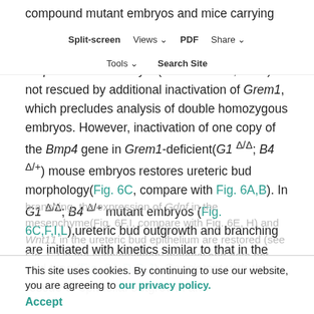compound mutant embryos and mice carrying both Grem1 and Bmp4 loss-of-function mutations were generated. The early lethality of Bmp4-deficient embryos(Winnier et al., 1995) is not rescued by additional inactivation of Grem1, which precludes analysis of double homozygous embryos. However, inactivation of one copy of the Bmp4 gene in Grem1-deficient(G1 Δ/Δ; B4 Δ/+) mouse embryos restores ureteric bud morphology(Fig. 6C, compare with Fig. 6A,B). In G1 Δ/Δ; B4 Δ/+ mutant embryos (Fig. 6C,F,I,L),ureteric bud outgrowth and branching are initiated with kinetics similar to that in the wild type (Fig. 6A,D,G,J). Consistent with this rescue of epithelial outgrowth and
Split-screen  Views  PDF  Share
Tools  Search Site
branching, the expression of Gdnf in the mesenchyme(Fig. 6F,I, compare with Fig. 6E, H) and Wnt11 in the ureteric bud epithelium are restored (see Fig. S2 in the supplementary material and data not shown), which is indicative of intact
This site uses cookies. By continuing to use our website, you are agreeing to our privacy policy.
Accept